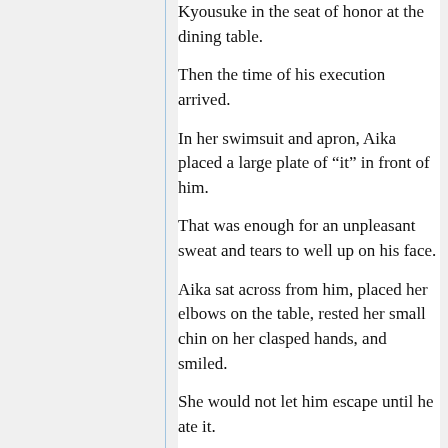Kyousuke in the seat of honor at the dining table.
Then the time of his execution arrived.
In her swimsuit and apron, Aika placed a large plate of “it” in front of him.
That was enough for an unpleasant sweat and tears to well up on his face.
Aika sat across from him, placed her elbows on the table, rested her small chin on her clasped hands, and smiled.
She would not let him escape until he ate it.
“I made omurice today.”
“I can already smell something really raw from here.”
“It’s an egg dish, so of course it smells raw.”
“That you think that is enough reason to